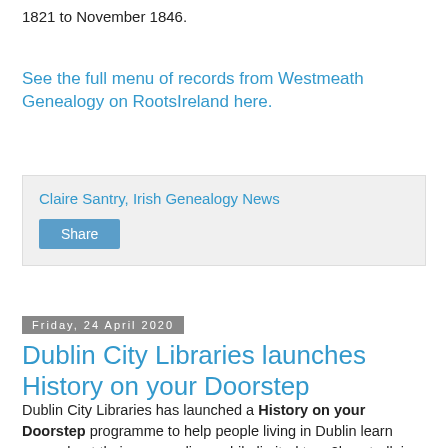1821 to November 1846.
See the full menu of records from Westmeath Genealogy on RootsIreland here.
Claire Santry, Irish Genealogy News
Share
Friday, 24 April 2020
Dublin City Libraries launches History on your Doorstep
Dublin City Libraries has launched a History on your Doorstep programme to help people living in Dublin learn more about their surroundings while limited to a 2km stroll, jog or cycle due to the covid-19 restrictions. It will also be of interest to those with ancestral connections to the city and its environs.